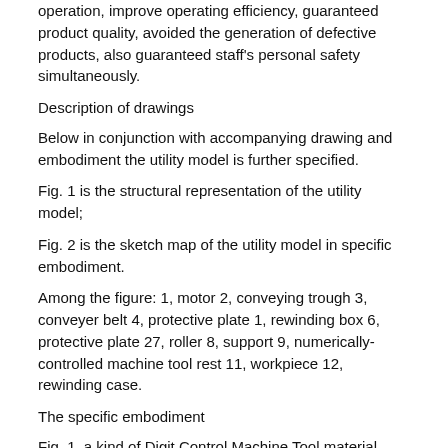operation, improve operating efficiency, guaranteed product quality, avoided the generation of defective products, also guaranteed staff's personal safety simultaneously.
Description of drawings
Below in conjunction with accompanying drawing and embodiment the utility model is further specified.
Fig. 1 is the structural representation of the utility model;
Fig. 2 is the sketch map of the utility model in specific embodiment.
Among the figure: 1, motor 2, conveying trough 3, conveyer belt 4, protective plate 1, rewinding box 6, protective plate 27, roller 8, support 9, numerically-controlled machine tool rest 11, workpiece 12, rewinding case.
The specific embodiment
Fig. 1, a kind of Digit Control Machine Tool material collecting device shown in Figure 2; Comprise Digit Control Machine Tool 9, in Digit Control Machine Tool 9, play the knife rest 10 of clamping elaboration, set up a material